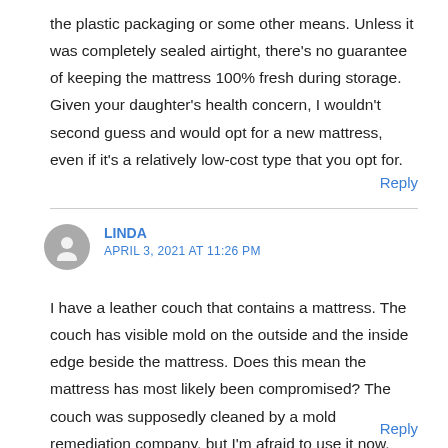the plastic packaging or some other means. Unless it was completely sealed airtight, there's no guarantee of keeping the mattress 100% fresh during storage. Given your daughter's health concern, I wouldn't second guess and would opt for a new mattress, even if it's a relatively low-cost type that you opt for.
Reply
LINDA
APRIL 3, 2021 AT 11:26 PM
I have a leather couch that contains a mattress. The couch has visible mold on the outside and the inside edge beside the mattress. Does this mean the mattress has most likely been compromised? The couch was supposedly cleaned by a mold remediation company, but I'm afraid to use it now.
Reply